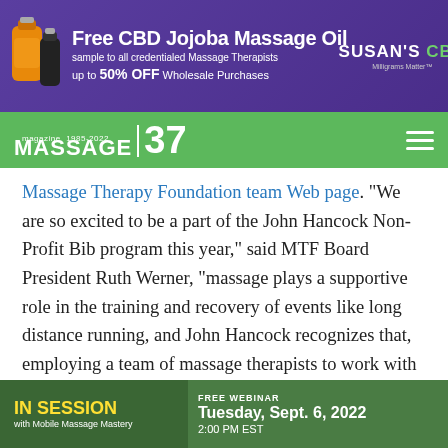[Figure (other): Banner advertisement for Free CBD Jojoba Massage Oil by Susan's CBD. Purple background with bottle images. Text: 'Free CBD Jojoba Massage Oil sample to all credentialed Massage Therapists up to 50% OFF Wholesale Purchases'. Logo: 'SUSAN'S CBD Milligrams Matter']
[Figure (logo): Massage Magazine logo on green navigation bar showing 'MASSAGE 37 magazine 1985-2022' with hamburger menu icon]
Massage Therapy Foundation team Web page. “We are so excited to be a part of the John Hancock Non-Profit Bib program this year,” said MTF Board President Ruth Werner, “massage plays a supportive role in the training and recovery of events like long distance running, and John Hancock recognizes that, employing a team of massage therapists to work with their elite runners every year during the Boston Marathon. This will help us create a lot of awareness and raise money for our efforts.”
[Figure (other): Advertisement banner: 'IN SESSION with Mobile Massage Mastery' - FREE WEBINAR Tuesday, Sept. 6, 2022 2:00 PM EST. Green background.]